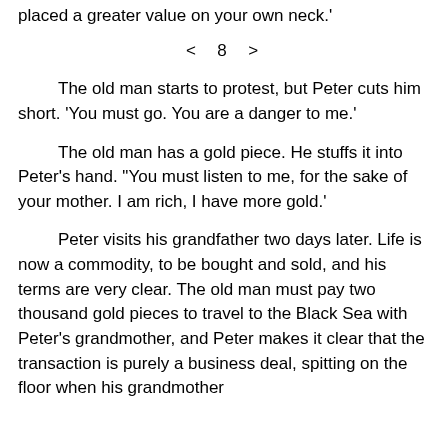placed a greater value on your own neck.'
< 8 >
The old man starts to protest, but Peter cuts him short. 'You must go. You are a danger to me.'
The old man has a gold piece. He stuffs it into Peter's hand. "You must listen to me, for the sake of your mother. I am rich, I have more gold.'
Peter visits his grandfather two days later. Life is now a commodity, to be bought and sold, and his terms are very clear. The old man must pay two thousand gold pieces to travel to the Black Sea with Peter's grandmother, and Peter makes it clear that the transaction is purely a business deal, spitting on the floor when his grandmother